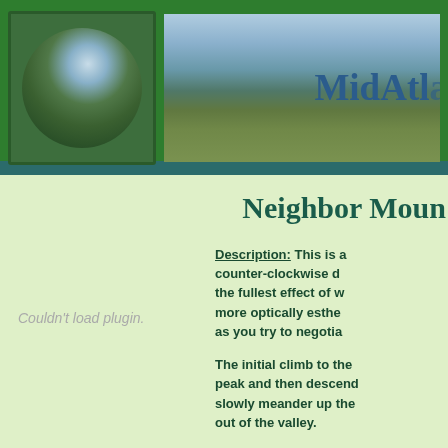[Figure (photo): Website header banner with green background, circular hiking photo on left and mountain landscape photo on right with 'MidAtla' text visible]
Neighbor Moun
Description: This is a counter-clockwise d the fullest effect of w more optically esthe as you try to negotia
[Figure (other): Plugin placeholder showing 'Couldn't load plugin.']
The initial climb to the peak and then descend slowly meander up the out of the valley.